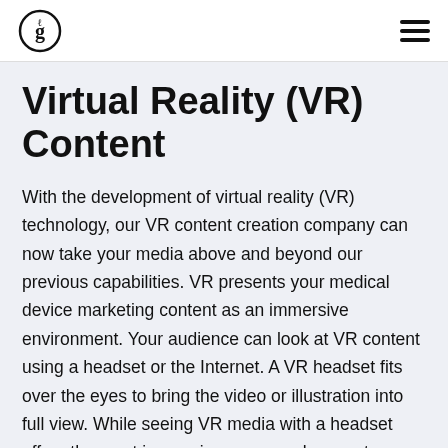[logo] [hamburger menu]
Virtual Reality (VR) Content
With the development of virtual reality (VR) technology, our VR content creation company can now take your media above and beyond our previous capabilities. VR presents your medical device marketing content as an immersive environment. Your audience can look at VR content using a headset or the Internet. A VR headset fits over the eyes to bring the video or illustration into full view. While seeing VR media with a headset offers the most immersion, we can also create a 360 video you